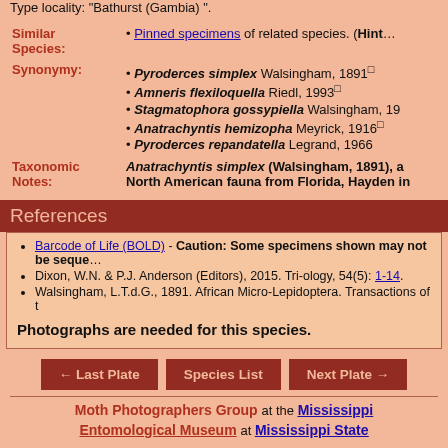Type locality: "Bathurst (Gambia)".
Similar Species: Pinned specimens of related species. (Hint…
Pyroderces simplex Walsingham, 1891
Amneris flexiloquella Riedl, 1993
Stagmatophora gossypiella Walsingham, 19…
Anatrachyntis hemizopha Meyrick, 1916
Pyroderces repandatella Legrand, 1966
Taxonomic Notes: Anatrachyntis simplex (Walsingham, 1891), a North American fauna from Florida, Hayden in…
References
Barcode of Life (BOLD) - Caution: Some specimens shown may not be sequenced…
Dixon, W.N. & P.J. Anderson (Editors), 2015. Tri-ology, 54(5): 1-14.
Walsingham, L.T.d.G., 1891. African Micro-Lepidoptera. Transactions of t…
Photographs are needed for this species.
← Last Plate   Species List   Next Plate →
Moth Photographers Group at the Mississippi Entomological Museum at Mississippi State…